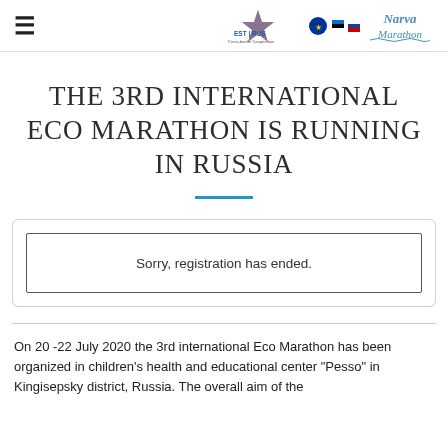≡  EST | RUS [logos]
THE 3RD INTERNATIONAL ECO MARATHON IS RUNNING IN RUSSIA
Sorry, registration has ended.
On 20 -22 July 2020 the 3rd international Eco Marathon has been organized in children's health and educational center "Pesso" in Kingisepsky district, Russia. The overall aim of the